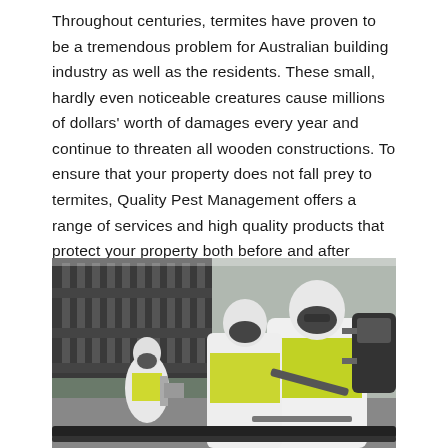Throughout centuries, termites have proven to be a tremendous problem for Australian building industry as well as the residents. These small, hardly even noticeable creatures cause millions of dollars' worth of damages every year and continue to threaten all wooden constructions. To ensure that your property does not fall prey to termites, Quality Pest Management offers a range of services and high quality products that protect your property both before and after construction.
[Figure (photo): Pest control workers in white protective suits and hi-vis vests wearing respirator masks carrying spraying equipment outdoors near a building with railings.]